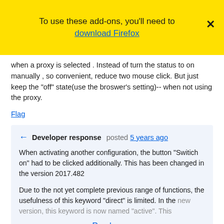To use these add-ons, you'll need to download Firefox
when a proxy is selected . Instead of turn the status to on manually , so convenient, reduce two mouse click. But just keep the "off" state(use the broswer's setting)-- when not using the proxy.
Flag
Developer response posted 5 years ago
When activating another configuration, the button "Switich on" had to be clicked additionally. This has been changed in the version 2017.482
Due to the not yet complete previous range of functions, the usefulness of this keyword "direct" is limited. In the new version, this keyword is now named "active". This
Read more